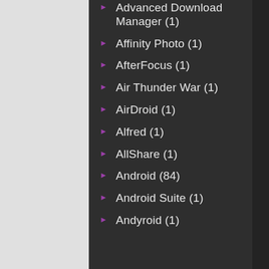Advanced Download Manager (1)
Affinity Photo (1)
AfterFocus (1)
Air Thunder War (1)
AirDroid (1)
Alfred (1)
AllShare (1)
Android (84)
Android Suite (1)
Andyroid (1)